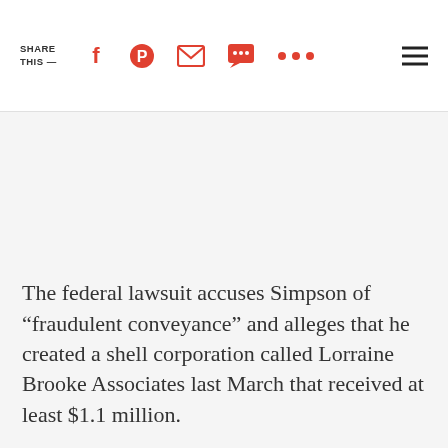SHARE THIS —
The federal lawsuit accuses Simpson of “fraudulent conveyance” and alleges that he created a shell corporation called Lorraine Brooke Associates last March that received at least $1.1 million.